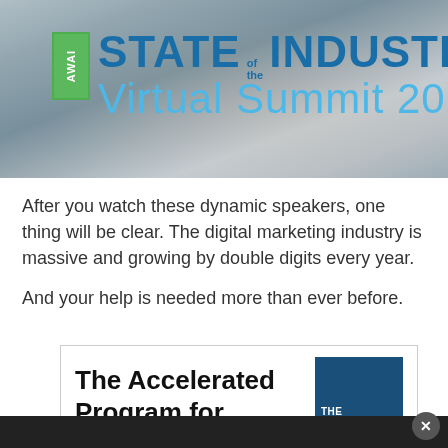[Figure (illustration): AWAI State of the Industry Virtual Summit 2020 banner with misty background and logo]
After you watch these dynamic speakers, one thing will be clear. The digital marketing industry is massive and growing by double digits every year.
And your help is needed more than ever before.
[Figure (screenshot): Promotional box showing 'The Accelerated Program for...' with a blue book cover image on the right]